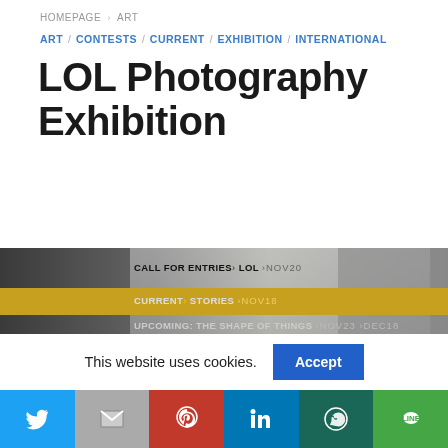HOMEPAGE > ART
ART / CONTESTS / CURRENT / EXHIBITION / INTERNATIONAL
LOL Photography Exhibition
[Figure (photo): Exhibition banner image showing silhouettes and gallery scenes with text overlays: CALL FOR ENTRIES > LOL > NOV20, CURRENT > STORIES > NOV18, UPCOMING: THE SHAPE OF THINGS > NOV23 > DEC18. Gold highlighted bar on CURRENT > STORIES line.]
This website uses cookies.
[Figure (infographic): Social sharing bar with icons for Twitter, Gmail, Pinterest, LinkedIn, WhatsApp, and Line apps]